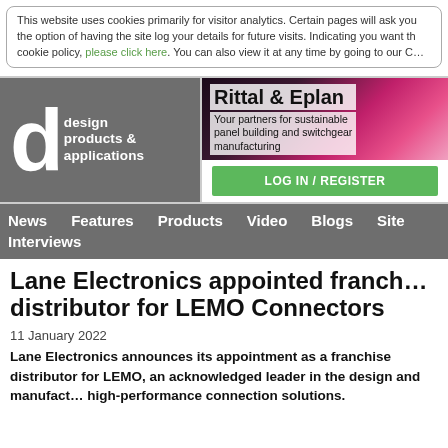This website uses cookies primarily for visitor analytics. Certain pages will ask you the option of having the site log your details for future visits. Indicating you want the cookie policy, please click here. You can also view it at any time by going to our Ce
[Figure (logo): Design Products & Applications magazine logo with large 'd' letter and grey background with text 'design products & applications']
[Figure (infographic): Rittal & Eplan advertisement - Your partners for sustainable panel building and switchgear manufacturing with pink/magenta background and LOG IN / REGISTER green button]
News   Features   Products   Video   Blogs   Site   Interviews
Lane Electronics appointed franchise distributor for LEMO Connectors
11 January 2022
Lane Electronics announces its appointment as a franchise distributor for LEMO, an acknowledged leader in the design and manufacture of high-performance connection solutions.